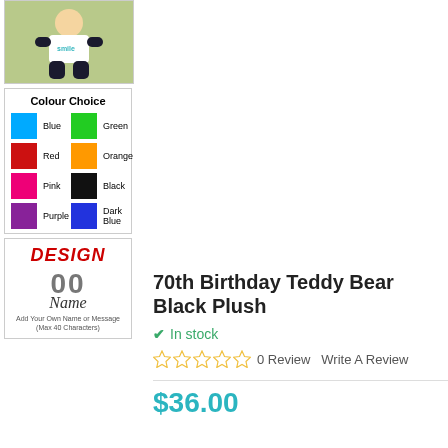[Figure (photo): Product photo of a baby wearing a black plush teddy bear outfit with a white t-shirt]
[Figure (infographic): Colour Choice chart showing 8 colour swatches: Blue, Green, Red, Orange, Pink, Black, Purple, Dark Blue]
[Figure (infographic): Design preview image showing red DESIGN text, number 00 in grey, Name in italic script, and customization instructions]
70th Birthday Teddy Bear Black Plush
In stock
0 Review   Write A Review
$36.00